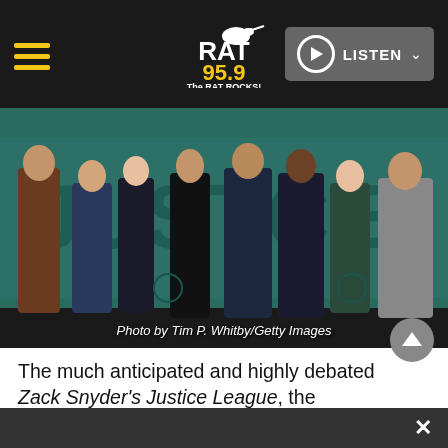RAT 95.9 The RAT ROCKS! | LISTEN
[Figure (photo): Group photo of the Justice League cast at a press event, standing in front of a green/teal backdrop with partial text visible. Photo credit: Tim P. Whitby/Getty Images]
Photo by Tim P. Whitby/Getty Images
The much anticipated and highly debated Zack Snyder's Justice League, the director's cut is finally out on HBO Max.